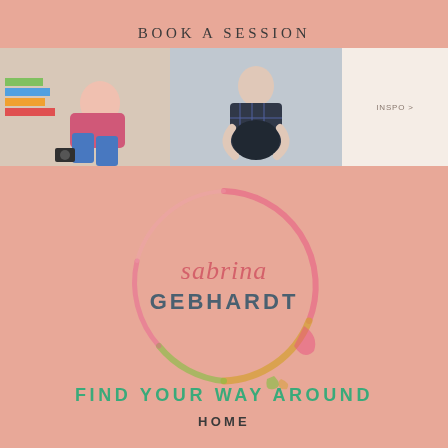BOOK A SESSION
[Figure (screenshot): Website screenshot strip showing two photos of people (left: person sitting with books and camera, right: pregnant person in dark outfit) and an 'INSPO >' link on cream background]
[Figure (logo): Sabrina Gebhardt logo with colorful painted circle ring. Script text 'sabrina' in pink-red italic above bold 'GEBHARDT' in slate blue, surrounded by a watercolor circle of pink, yellow, green colors.]
FIND YOUR WAY AROUND
HOME